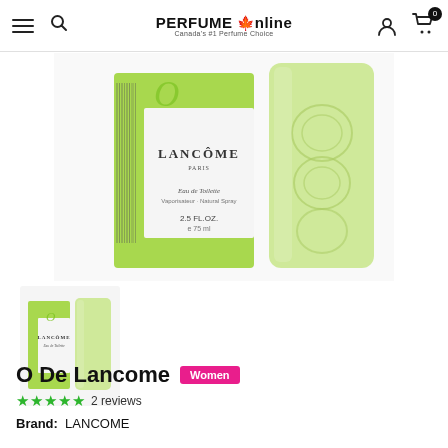PERFUME Online — Canada's #1 Perfume Choice
[Figure (photo): Lancome O De Lancome perfume box and bottle, green and white packaging, Eau de Toilette 2.5 FL OZ 75 ml]
[Figure (photo): Thumbnail of O De Lancome perfume box and bottle, small size]
O De Lancome
Women
★★★★★ 2 reviews
Brand: LANCOME